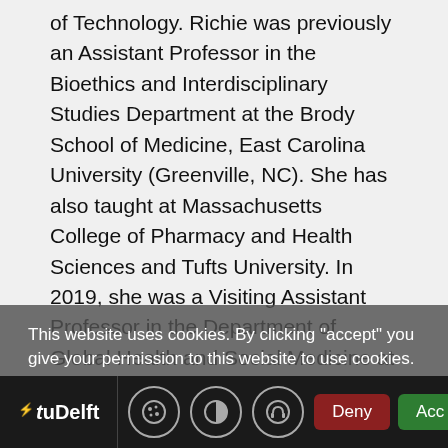of Technology. Richie was previously an Assistant Professor in the Bioethics and Interdisciplinary Studies Department at the Brody School of Medicine, East Carolina University (Greenville, NC). She has also taught at Massachusetts College of Pharmacy and Health Sciences and Tufts University. In 2019, she was a Visiting Assistant Professor in the Department of Global Health and Social Medicine at Harvard Medical School.
Richie is the Chair of the Environmental Bioethics Affinity Group of the American Society for Bioethics and Humanities and holds a nominated fellowship at the Center for Bioethics and Human Dignity at Trinity International University (Deerfield, Il). She has been a visiting...
This website uses cookies. By clicking "accept" you give your permission to this website to use cookies. What are cookies?
TU Delft | Deny | Accept